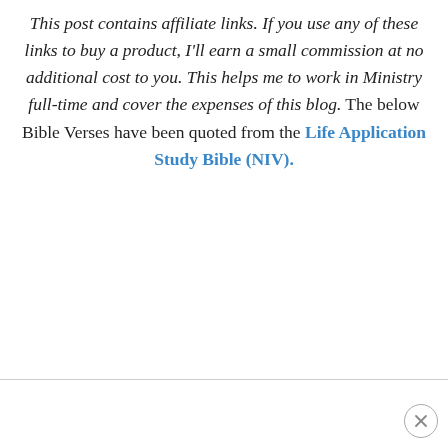This post contains affiliate links. If you use any of these links to buy a product, I'll earn a small commission at no additional cost to you. This helps me to work in Ministry full-time and cover the expenses of this blog. The below Bible Verses have been quoted from the Life Application Study Bible (NIV).